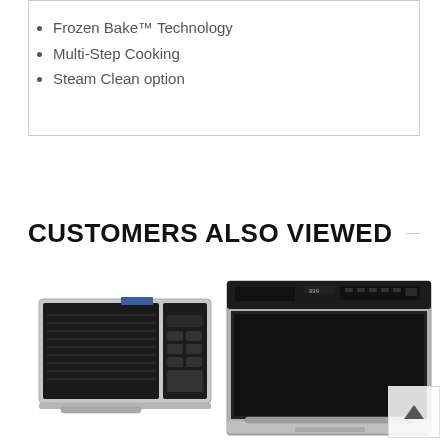Frozen Bake™ Technology
Multi-Step Cooking
Steam Clean option
CUSTOMERS ALSO VIEWED
[Figure (photo): Maytag over-the-range microwave in stainless steel]
[Figure (photo): JennAir wall oven in stainless steel with black glass door and control panel]